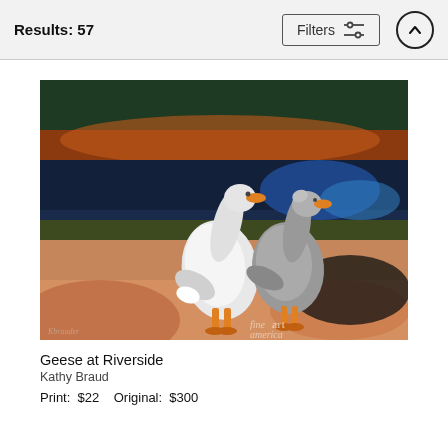Results: 57
[Figure (illustration): Watercolor painting of two geese standing by a riverside with a colorful background of dark greens, blues, and warm oranges/reds. The geese have white and gray plumage with orange beaks and legs. A 'fine art america' watermark appears in the bottom right.]
Geese at Riverside
Kathy Braud
Print:  $22    Original:  $300